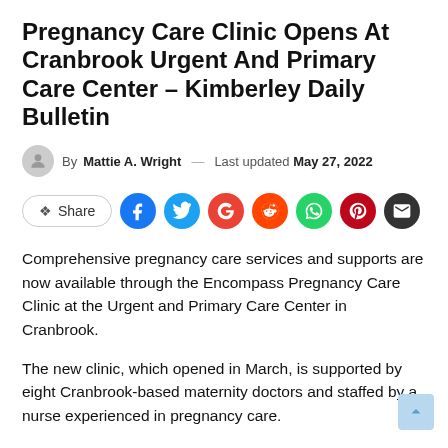Pregnancy Care Clinic Opens At Cranbrook Urgent And Primary Care Center – Kimberley Daily Bulletin
By Mattie A. Wright — Last updated May 27, 2022
[Figure (infographic): Share buttons row: Share button and social media icons for Facebook, Twitter, Google, Reddit, WhatsApp, Pinterest, Email]
Comprehensive pregnancy care services and supports are now available through the Encompass Pregnancy Care Clinic at the Urgent and Primary Care Center in Cranbrook.
The new clinic, which opened in March, is supported by eight Cranbrook-based maternity doctors and staffed by a nurse experienced in pregnancy care.
Encompass Pregnancy Care was created to be a non-judgmental, inclusive and culturally safe space where all mothers feel heard, comfortable and respected, as well as